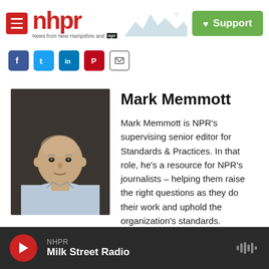nhpr — News from New Hampshire and NPR | Support
[Figure (screenshot): NHPR website header with logo, mountains illustration, and green Support button]
[Figure (screenshot): Social sharing icons: Facebook, Twitter, LinkedIn, Pinterest, Email]
[Figure (photo): Headshot photo of Mark Memmott, a bald man in a light blue collared shirt against a dark background]
Mark Memmott
Mark Memmott is NPR's supervising senior editor for Standards & Practices. In that role, he's a resource for NPR's journalists – helping them raise the right questions as they do their work and uphold the organization's standards.
See stories by Mark Memmott
NHPR — Milk Street Radio